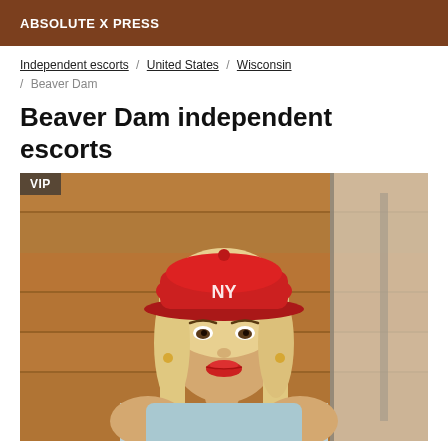ABSOLUTE X PRESS
Independent escorts / United States / Wisconsin / Beaver Dam
Beaver Dam independent escorts
[Figure (photo): Portrait photo of a woman wearing a red NY baseball cap and light blue sleeveless top, with long blonde hair, standing in front of a wooden wall. VIP badge shown in top-left corner.]